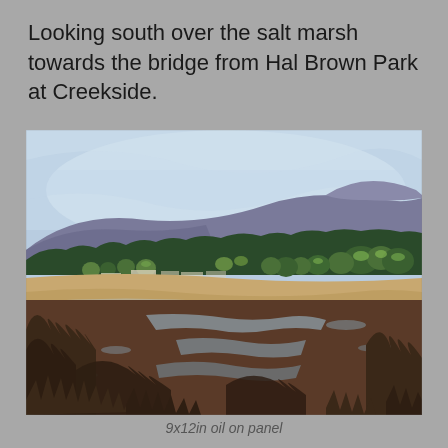Looking south over the salt marsh towards the bridge from Hal Brown Park at Creekside.
[Figure (illustration): Oil painting of a landscape looking south over a salt marsh towards a bridge from Hal Brown Park at Creekside. In the foreground is dark marshy vegetation and reflective water channels. The middle ground shows sandy terrain with trees and buildings. The background features rolling hills/mountains under a light blue sky.]
9x12in oil on panel